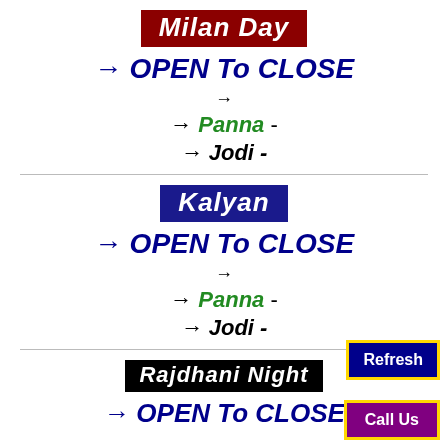Milan Day
→ OPEN To CLOSE
→
→ Panna -
→ Jodi -
Kalyan
→ OPEN To CLOSE
→
→ Panna -
→ Jodi -
Rajdhani Night
→ OPEN To CLOSE